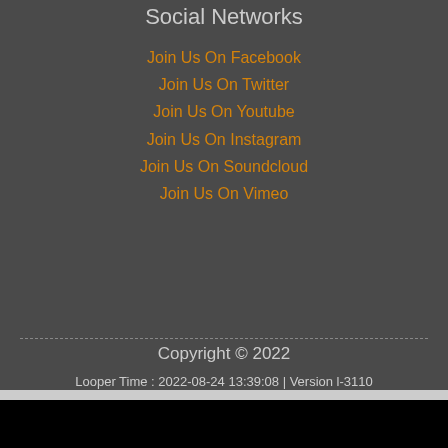Social Networks
Join Us On Facebook
Join Us On Twitter
Join Us On Youtube
Join Us On Instagram
Join Us On Soundcloud
Join Us On Vimeo
Copyright © 2022
Looper Time : 2022-08-24 13:39:08 | Version l-3110